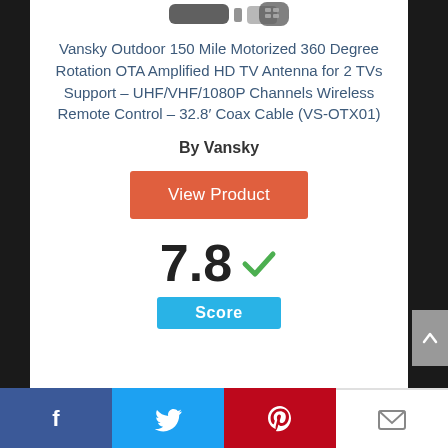[Figure (photo): Partial product image of Vansky outdoor TV antenna at top of card]
Vansky Outdoor 150 Mile Motorized 360 Degree Rotation OTA Amplified HD TV Antenna for 2 TVs Support – UHF/VHF/1080P Channels Wireless Remote Control – 32.8′ Coax Cable (VS-OTX01)
By Vansky
View Product
7.8
Score
Facebook  Twitter  Pinterest  Email